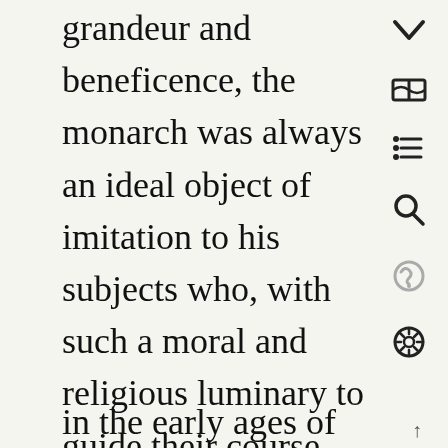grandeur and beneficence, the monarch was always an ideal object of imitation to his subjects who, with such a moral and religious luminary to guide their course, never deviated in their conduct, nor erred in their dealings, but like the magnetic needle were always true to themselves and to others. Hence, it is easy to observe that the life as these ancients lived was too pure and transparent to distune and disturb the symphonious harmony of the vital substance and thereby to generate and spread the Chronic Miasms of the virulent nature and type the present-day people through- out the world are suffering from and groaning under. Not that we mean to say that the people
in the early ages of the world were entirely free
↑